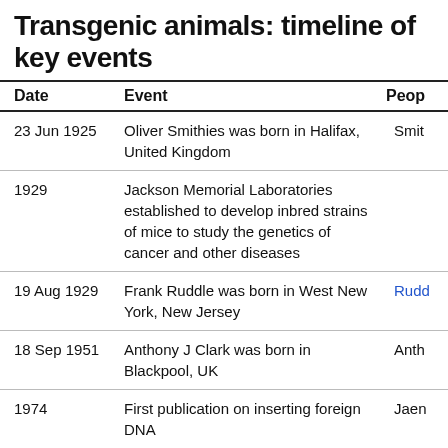Transgenic animals: timeline of key events
| Date | Event | Peop… |
| --- | --- | --- |
| 23 Jun 1925 | Oliver Smithies was born in Halifax, United Kingdom | Smit… |
| 1929 | Jackson Memorial Laboratories established to develop inbred strains of mice to study the genetics of cancer and other diseases |  |
| 19 Aug 1929 | Frank Ruddle was born in West New York, New Jersey | Rudd… |
| 18 Sep 1951 | Anthony J Clark was born in Blackpool, UK | Anth… |
| 1974 | First publication on inserting foreign DNA | Jaen… |